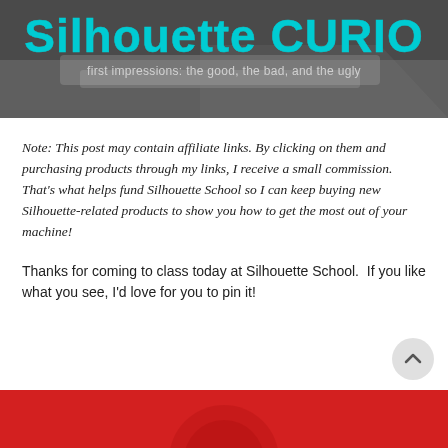[Figure (photo): Header image showing a Silhouette CURIO craft cutting machine on a table. Bold cyan/turquoise text reads 'Silhouette CURIO' with subtitle 'first impressions: the good, the bad, and the ugly' in lighter text below.]
Note: This post may contain affiliate links. By clicking on them and purchasing products through my links, I receive a small commission. That's what helps fund Silhouette School so I can keep buying new Silhouette-related products to show you how to get the most out of your machine!
Thanks for coming to class today at Silhouette School.  If you like what you see, I'd love for you to pin it!
[Figure (photo): Bottom partial image showing a red background, likely a Pinterest pin button or related graphic, partially visible at the bottom of the page.]